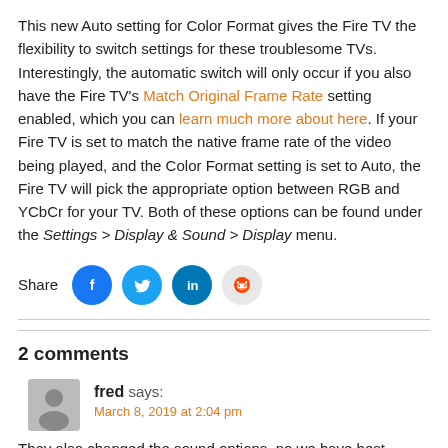This new Auto setting for Color Format gives the Fire TV the flexibility to switch settings for these troublesome TVs. Interestingly, the automatic switch will only occur if you also have the Fire TV's Match Original Frame Rate setting enabled, which you can learn much more about here. If your Fire TV is set to match the native frame rate of the video being played, and the Color Format setting is set to Auto, the Fire TV will pick the appropriate option between RGB and YCbCr for your TV. Both of these options can be found under the Settings > Display & Sound > Display menu.
[Figure (infographic): Share row with Facebook, Twitter, LinkedIn, and Reddit icon buttons]
2 comments
fred says: March 8, 2019 at 2:04 pm
They also changed the sound options, no we have best available. Still reads everything as DD+, don't know how they can't figure